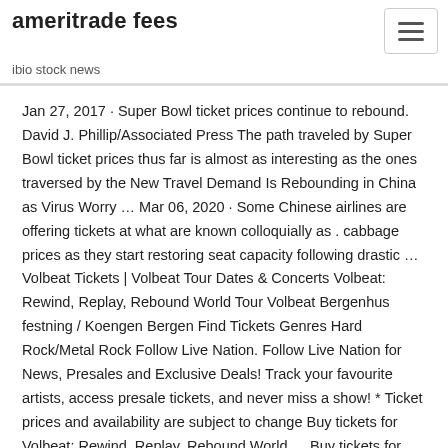ameritrade fees
ibio stock news
Jan 27, 2017 · Super Bowl ticket prices continue to rebound. David J. Phillip/Associated Press The path traveled by Super Bowl ticket prices thus far is almost as interesting as the ones traversed by the New Travel Demand Is Rebounding in China as Virus Worry … Mar 06, 2020 · Some Chinese airlines are offering tickets at what are known colloquially as . cabbage prices as they start restoring seat capacity following drastic … Volbeat Tickets | Volbeat Tour Dates & Concerts Volbeat: Rewind, Replay, Rebound World Tour Volbeat Bergenhus festning / Koengen Bergen Find Tickets Genres Hard Rock/Metal Rock Follow Live Nation. Follow Live Nation for News, Presales and Exclusive Deals! Track your favourite artists, access presale tickets, and never miss a show! * Ticket prices and availability are subject to change Buy tickets for Volbeat: Rewind, Replay, Rebound World … Buy tickets for Volbeat: Rewind, Replay, Rebound World Tour at Suvilahti on